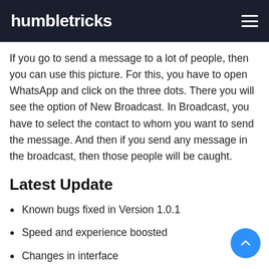humbletricks
If you go to send a message to a lot of people, then you can use this picture. For this, you have to open WhatsApp and click on the three dots. There you will see the option of New Broadcast. In Broadcast, you have to select the contact to whom you want to send the message. And then if you send any message in the broadcast, then those people will be caught.
Latest Update
Known bugs fixed in Version 1.0.1
Speed and experience boosted
Changes in interface
Version 1.0.1 has New features
This app was uploaded on humbletricks.com since January 2022. Latest update contains many new features and changes.